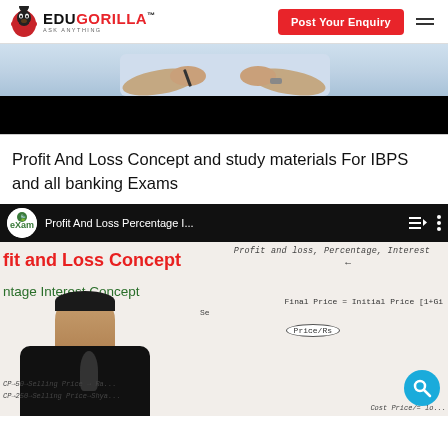EduGorilla™ Ask Anything | Post Your Enquiry
[Figure (screenshot): Video thumbnail showing a person's hands, partially cropped, with a black lower band — a video player interface]
Profit And Loss Concept and study materials For IBPS and all banking Exams
[Figure (screenshot): YouTube-style video embed showing 'Profit And Loss Percentage I...' with eXam channel icon, playlist and menu icons in top bar. Video frame shows whiteboard with text: 'fit and Loss Concept', 'ntage Interest Concept', handwritten 'Profit and loss, Percentage, Interest', equations including 'Final Price = Initial Price', 'Price/Rs' oval, and bottom handwriting 'CP→50→Selling Price → Ra...', 'CP→250→Selling Price→Shya...', 'Cost Price/= lo...' A search button (cyan circle) is visible bottom right.]